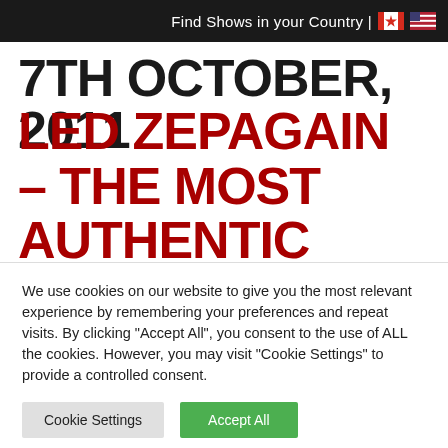Find Shows in your Country | 🇨🇦 🇺🇸
7TH OCTOBER, 2011
LED ZEPAGAIN – THE MOST AUTHENTIC REPRODUCTION OF LED ZEPPELIN IN THE WORLD TODAY
We use cookies on our website to give you the most relevant experience by remembering your preferences and repeat visits. By clicking "Accept All", you consent to the use of ALL the cookies. However, you may visit "Cookie Settings" to provide a controlled consent.
Cookie Settings  Accept All